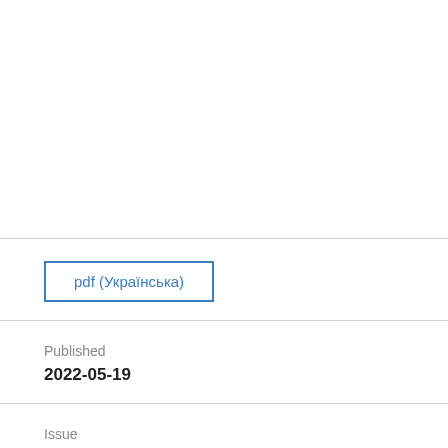pdf (Українська)
Published
2022-05-19
Issue